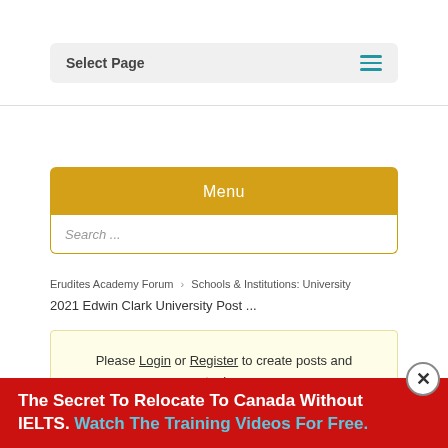Select Page
Menu
Search ...
Erudites Academy Forum › Schools & Institutions: University
2021 Edwin Clark University Post ...
Please Login or Register to create posts and topics.
The Secret To Relocate To Canada Without IELTS. Watch The Training Videos For Free.